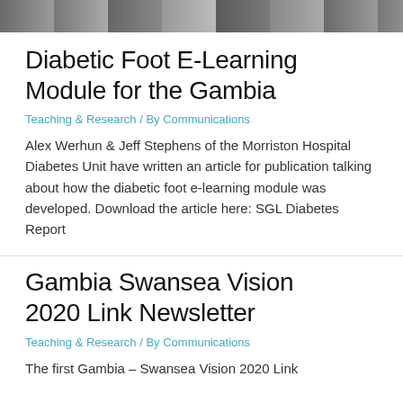[Figure (photo): Partial photo strip showing people at the top of the page]
Diabetic Foot E-Learning Module for the Gambia
Teaching & Research / By Communications
Alex Werhun & Jeff Stephens of the Morriston Hospital Diabetes Unit have written an article for publication talking about how the diabetic foot e-learning module was developed. Download the article here: SGL Diabetes Report
Gambia Swansea Vision 2020 Link Newsletter
Teaching & Research / By Communications
The first Gambia – Swansea Vision 2020 Link